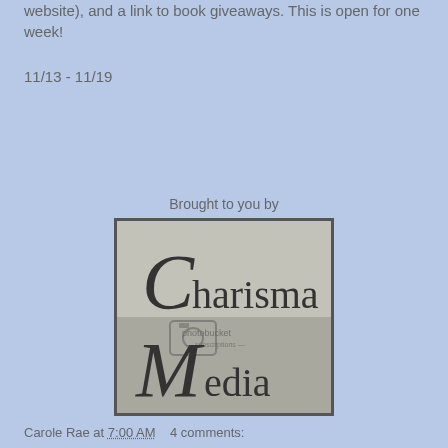website), and a link to book giveaways. This is open for one week!
11/13 - 11/19
Brought to you by
[Figure (logo): Charisma Media logo on a gray background with a decorative script C and M, with a photobucket watermark]
Carole Rae at 7:00 AM    4 comments: